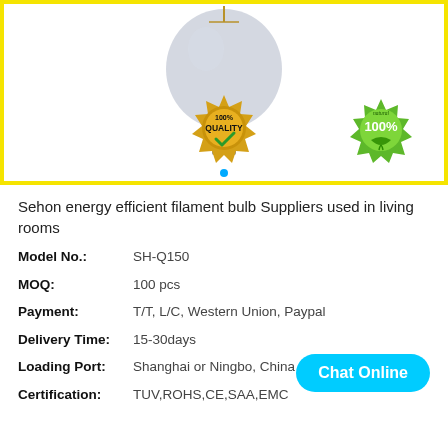[Figure (photo): Product photo of a filament bulb with a 100% Quality gold badge and a 100% Natural green badge, on a white background with yellow border.]
Sehon energy efficient filament bulb Suppliers used in living rooms
| Model No.: | SH-Q150 |
| MOQ: | 100 pcs |
| Payment: | T/T, L/C, Western Union, Paypal |
| Delivery Time: | 15-30days |
| Loading Port: | Shanghai or Ningbo, China |
| Certification: | TUV,ROHS,CE,SAA,EMC |